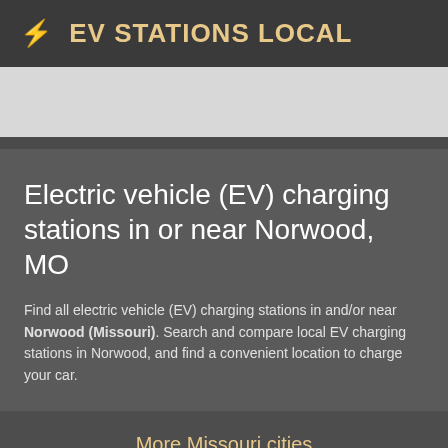⚡ EV STATIONS LOCAL
Electric vehicle (EV) charging stations in or near Norwood, MO
Find all electric vehicle (EV) charging stations in and/or near Norwood (Missouri). Search and compare local EV charging stations in Norwood, and find a convenient location to charge your car.
More Missouri cities
Amsterdam
Cosby